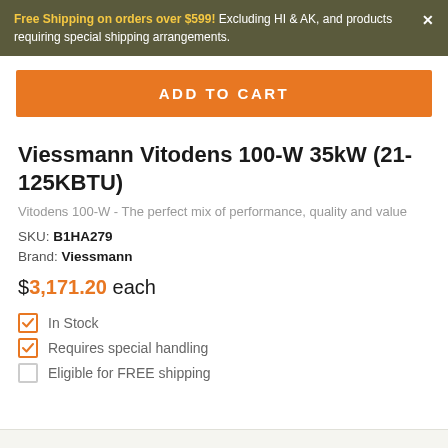Free Shipping on orders over $599! Excluding HI & AK, and products requiring special shipping arrangements.
ADD TO CART
Viessmann Vitodens 100-W 35kW (21-125KBTU)
Vitodens 100-W - The perfect mix of performance, quality and value
SKU: B1HA279
Brand: Viessmann
$3,171.20 each
In Stock
Requires special handling
Eligible for FREE shipping